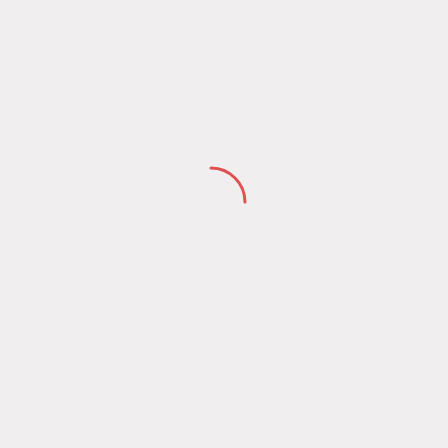[Figure (other): A loading spinner arc — a partial circle arc drawn in red/coral color, showing approximately the top-right quarter arc of a circle, centered slightly right of the page center.]